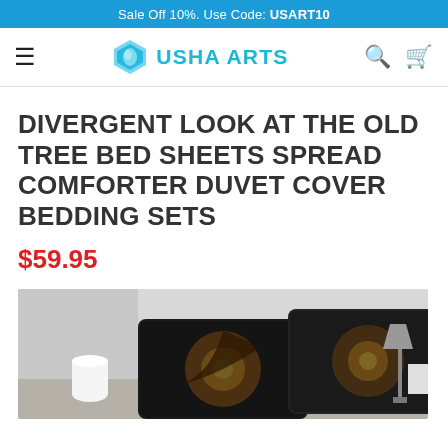Sale Off 10%. Use Code: USART10
[Figure (logo): Usha Arts logo with hexagon icon and teal text]
DIVERGENT LOOK AT THE OLD TREE BED SHEETS SPREAD COMFORTER DUVET COVER BEDDING SETS
$59.95
[Figure (photo): Product photo showing dark tree-themed pillowcases/bedding set on a bed with a lamp in background]